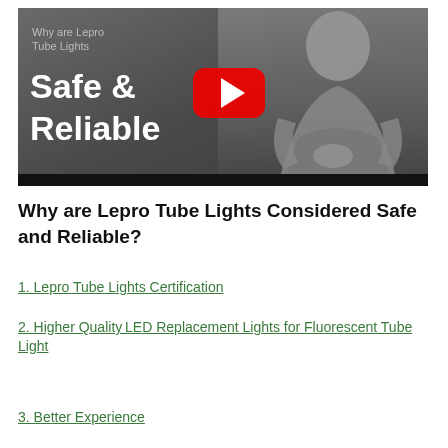[Figure (screenshot): YouTube video thumbnail showing a man in a grey shirt with text 'Why are Lepro Tube Lights Safe & Reliable' and a YouTube play button]
Why are Lepro Tube Lights Considered Safe and Reliable?
1. Lepro Tube Lights Certification
2. Higher Quality LED Replacement Lights for Fluorescent Tube Light
3. Better Experience